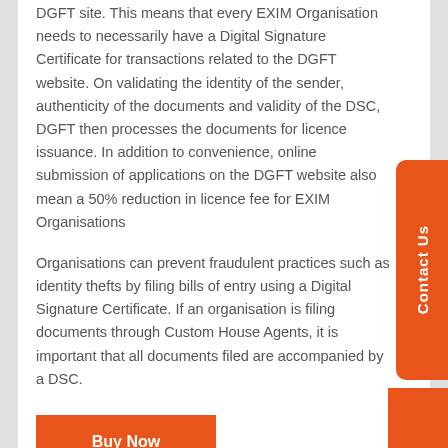DGFT site. This means that every EXIM Organisation needs to necessarily have a Digital Signature Certificate for transactions related to the DGFT website. On validating the identity of the sender, authenticity of the documents and validity of the DSC, DGFT then processes the documents for licence issuance. In addition to convenience, online submission of applications on the DGFT website also mean a 50% reduction in licence fee for EXIM Organisations
Organisations can prevent fraudulent practices such as identity thefts by filing bills of entry using a Digital Signature Certificate. If an organisation is filing documents through Custom House Agents, it is important that all documents filed are accompanied by a DSC.
Buy Now